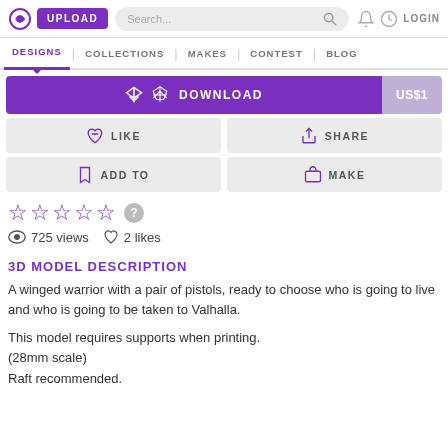UPLOAD | Search... | LOGIN
DESIGNS | COLLECTIONS | MAKES | CONTEST | BLOG
DOWNLOAD  US$1
LIKE  SHARE
ADD TO  MAKE
★★★★★ ?
725 views  2 likes
3D MODEL DESCRIPTION
A winged warrior with a pair of pistols, ready to choose who is going to live and who is going to be taken to Valhalla.

This model requires supports when printing.
(28mm scale)
Raft recommended.